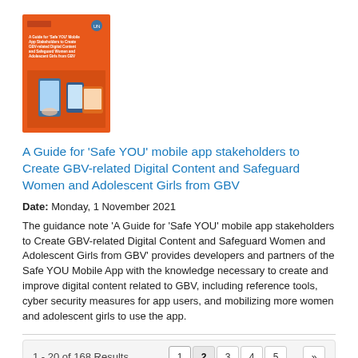[Figure (illustration): Book cover with orange background showing 'A Guide for Safe YOU mobile app stakeholders to Create GBV-related Digital Content and Safeguard Women and Adolescent Girls from GBV' with UN logo and images of mobile phones]
A Guide for 'Safe YOU' mobile app stakeholders to Create GBV-related Digital Content and Safeguard Women and Adolescent Girls from GBV
Date: Monday, 1 November 2021
The guidance note 'A Guide for 'Safe YOU' mobile app stakeholders to Create GBV-related Digital Content and Safeguard Women and Adolescent Girls from GBV' provides developers and partners of the Safe YOU Mobile App with the knowledge necessary to create and improve digital content related to GBV, including reference tools, cyber security measures for app users, and mobilizing more women and adolescent girls to use the app.
1 - 20 of 168 Results